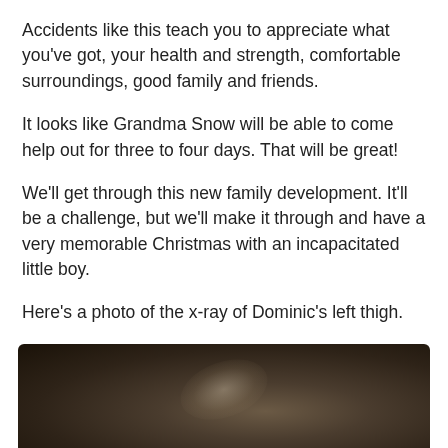Accidents like this teach you to appreciate what you've got, your health and strength, comfortable surroundings, good family and friends.
It looks like Grandma Snow will be able to come help out for three to four days. That will be great!
We'll get through this new family development. It'll be a challenge, but we'll make it through and have a very memorable Christmas with an incapacitated little boy.
Here's a photo of the x-ray of Dominic's left thigh.
[Figure (photo): A dark, blurry photograph of an x-ray of Dominic's left thigh, showing shadowy bone structures against a dark brown-gray background.]